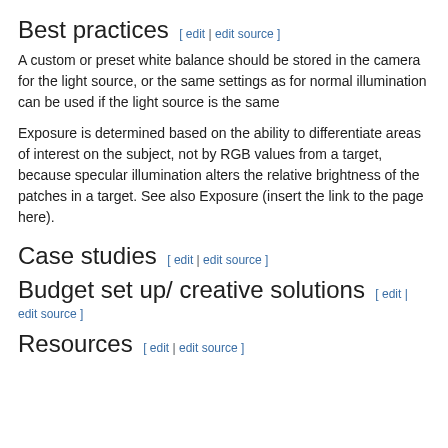Best practices [ edit | edit source ]
A custom or preset white balance should be stored in the camera for the light source, or the same settings as for normal illumination can be used if the light source is the same
Exposure is determined based on the ability to differentiate areas of interest on the subject, not by RGB values from a target, because specular illumination alters the relative brightness of the patches in a target. See also Exposure (insert the link to the page here).
Case studies [ edit | edit source ]
Budget set up/ creative solutions [ edit | edit source ]
Resources [ edit | edit source ]